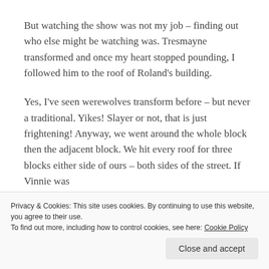But watching the show was not my job – finding out who else might be watching was. Tresmayne transformed and once my heart stopped pounding, I followed him to the roof of Roland's building.
Yes, I've seen werewolves transform before – but never a traditional. Yikes! Slayer or not, that is just frightening! Anyway, we went around the whole block then the adjacent block. We hit every roof for three blocks either side of ours – both sides of the street. If Vinnie was
Privacy & Cookies: This site uses cookies. By continuing to use this website, you agree to their use.
To find out more, including how to control cookies, see here: Cookie Policy
Close and accept